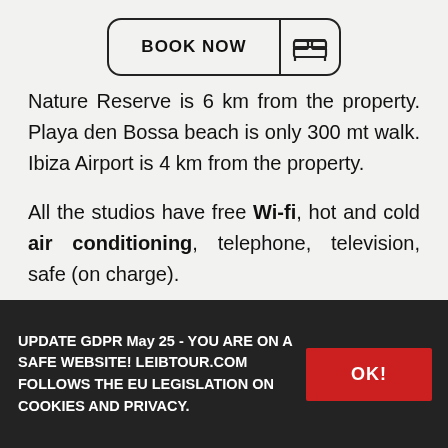[Figure (other): BOOK NOW button with bed icon, rounded rectangle border]
Nature Reserve is 6 km from the property. Playa den Bossa beach is only 300 mt walk. Ibiza Airport is 4 km from the property.
All the studios have free Wi-fi, hot and cold air conditioning, telephone, television, safe (on charge).
UPDATE GDPR May 25 - YOU ARE ON A SAFE WEBSITE! LEIBTOUR.COM FOLLOWS THE EU LEGISLATION ON COOKIES AND PRIVACY.
OK!